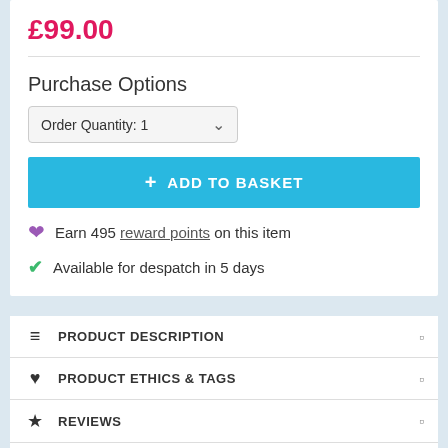£99.00
Purchase Options
Order Quantity: 1
+ ADD TO BASKET
Earn 495 reward points on this item
Available for despatch in 5 days
PRODUCT DESCRIPTION
PRODUCT ETHICS & TAGS
REVIEWS
QUESTIONS
ABOUT ROCKET GARDENS